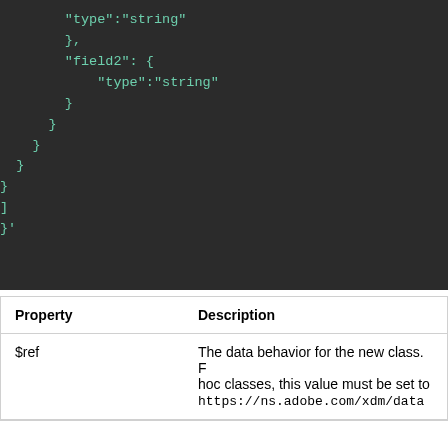[Figure (screenshot): Dark-themed code block showing JSON/YAML schema snippet with closing braces and brackets, fields 'field2' with type 'string', and closing braces at various indentation levels ending with }']
| Property | Description |
| --- | --- |
| $ref | The data behavior for the new class. For ad hoc classes, this value must be set to https://ns.adobe.com/xdm/data |